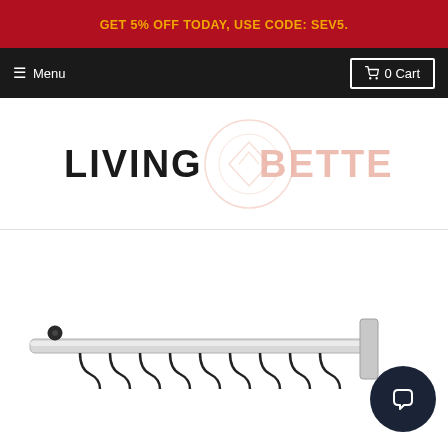GET 5% OFF TODAY, USE CODE: SEV5.
☰ Menu  🛒 0 Cart
[Figure (logo): Living Better logo with stylized circular watermark. Bold black text 'LIVING' on left, faded pink/rose text 'BETTER' on right, with a light pink circular logo mark in the center-right area.]
[Figure (photo): Product photo showing a chrome/silver rail with multiple black hanging hooks/clips, partially visible at the bottom of the page. A circular dark navy chat widget is visible in the lower right corner.]